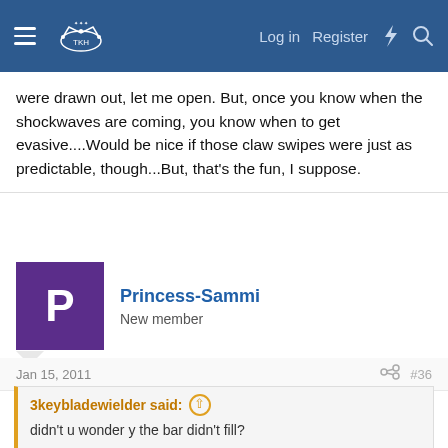Navigation bar with menu, logo, Log in, Register, and search icons
were drawn out, let me open. But, once you know when the shockwaves are coming, you know when to get evasive....Would be nice if those claw swipes were just as predictable, though...But, that's the fun, I suppose.
Princess-Sammi
New member
Jan 15, 2011  #36
3keybladewielder said:
didn't u wonder y the bar didn't fill?
I wasn't too concerned about that at the time, to be honest - I hated that mission so I was really looking forward to getting it over with, hehe!
Maxvli138